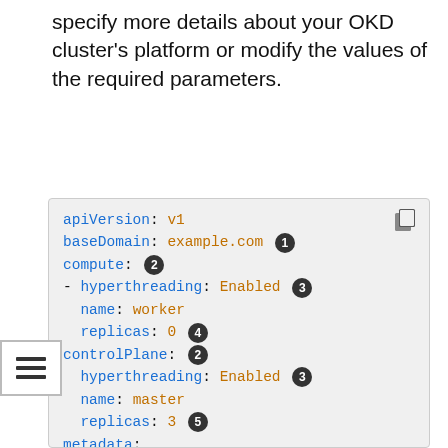specify more details about your OKD cluster's platform or modify the values of the required parameters.
[Figure (screenshot): Code block showing install-config.yaml YAML configuration with annotated numbered callout badges for apiVersion, baseDomain, compute, hyperthreading, replicas, controlPlane, metadata name, networking clusterNetwork cidr, hostPrefix, networkType fields.]